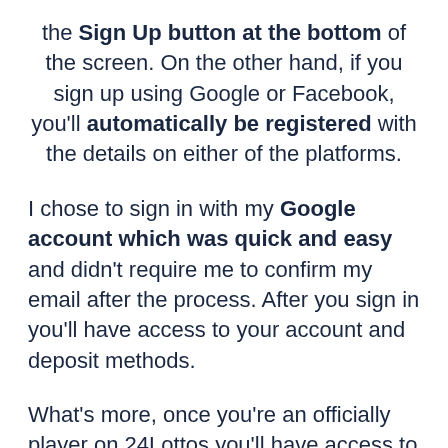the Sign Up button at the bottom of the screen. On the other hand, if you sign up using Google or Facebook, you'll automatically be registered with the details on either of the platforms.
I chose to sign in with my Google account which was quick and easy and didn't require me to confirm my email after the process. After you sign in you'll have access to your account and deposit methods.
What's more, once you're an officially player on 24Lottos you'll have access to the Gift card feature which is only visible on the site when